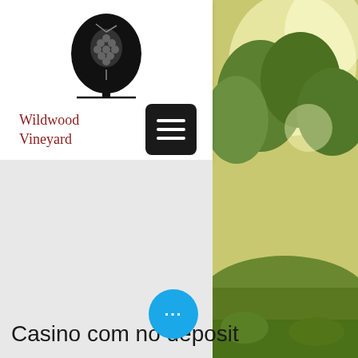[Figure (logo): Wildwood Vineyard logo: black silhouette of a tree with grape clusters, horizontal line beneath]
Wildwood Vineyard
[Figure (illustration): Dark square button with three horizontal white lines (hamburger menu icon)]
[Figure (photo): Outdoor photo showing sunlit green foliage, trees, and grass on the right side of the page]
Casino com no deposit
[Figure (illustration): Blue circular chat bubble with three white dots (more options indicator)]